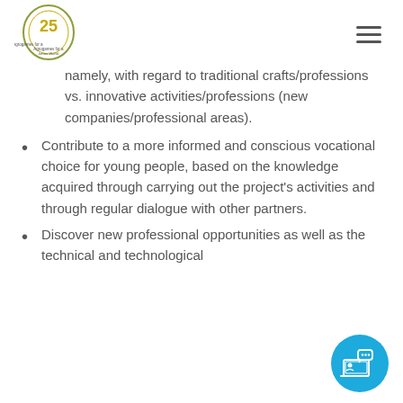[Logo: 25 Anniversary] [Hamburger menu]
namely, with regard to traditional crafts/professions vs. innovative activities/professions (new companies/professional areas).
Contribute to a more informed and conscious vocational choice for young people, based on the knowledge acquired through carrying out the project's activities and through regular dialogue with other partners.
Discover new professional opportunities as well as the technical and technological
[Figure (illustration): Circular blue icon with a laptop/computer and speech bubble, representing online communication or e-learning]